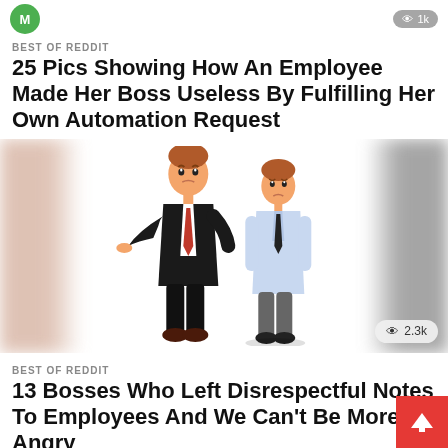M   1k
BEST OF REDDIT
25 Pics Showing How An Employee Made Her Boss Useless By Fulfilling Her Own Automation Request
[Figure (illustration): Cartoon illustration of two men in business attire facing each other. The taller man in a black suit with red tie points at a smaller, sad-looking man in a light blue shirt with black tie. Blurred figures appear on the left and right sides of the image. A view count badge shows 2.3k in the bottom right corner.]
BEST OF REDDIT
13 Bosses Who Left Disrespectful Notes To Employees And We Can't Be More Angry